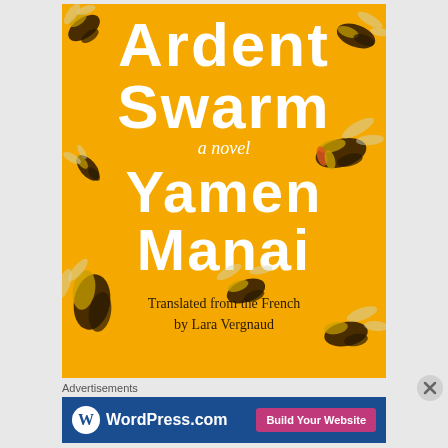[Figure (illustration): Book cover of 'Ardent Swarm, a novel' by Yamen Manai, translated from the French by Lara Vergnaud. Yellow/golden background with illustrated bees scattered around, white bold title text 'Ardent Swarm', italic subtitle 'a novel', white bold author name 'Yamen Manai', and translator credit 'Translated from the French by Lara Vergnaud' in dark text at the bottom.]
Advertisements
[Figure (screenshot): WordPress.com advertisement banner with blue background, WordPress logo (W in circle) on the left, 'WordPress.com' text, and a pink 'Build Your Website' button on the right.]